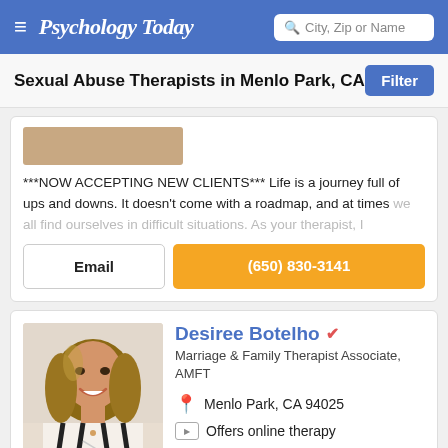Psychology Today — City, Zip or Name search
Sexual Abuse Therapists in Menlo Park, CA
***NOW ACCEPTING NEW CLIENTS*** Life is a journey full of ups and downs. It doesn't come with a roadmap, and at times we all find ourselves in difficult situations. As your therapist, I
Email | (650) 830-3141
Desiree Botelho
Marriage & Family Therapist Associate, AMFT
Menlo Park, CA 94025
Offers online therapy
[Figure (photo): Profile photo of Desiree Botelho, a woman with shoulder-length light brown hair, wearing a white and black striped outfit, smiling]
Wherever you are in your journey, together, we can explore what is contributing to feeling stuck and empower you to make